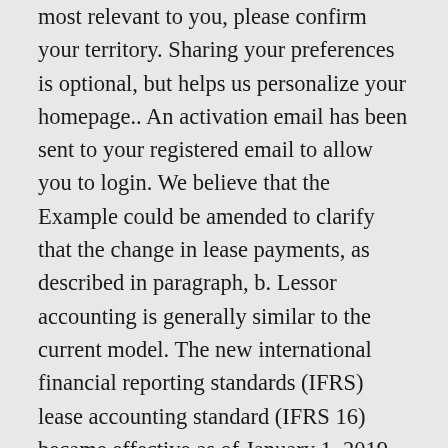most relevant to you, please confirm your territory. Sharing your preferences is optional, but helps us personalize your homepage.. An activation email has been sent to your registered email to allow you to login. We believe that the Example could be amended to clarify that the change in lease payments, as described in paragraph, b. Lessor accounting is generally similar to the current model. The new international financial reporting standards (IFRS) lease accounting standard (IFRS 16) became effective as of January 1, 2019 for ALL companies (both private and public); additionally, the Financial Accounting Standard Board (FASB) lease accounting standard (ASC 842... lease commenced before ASC 842's